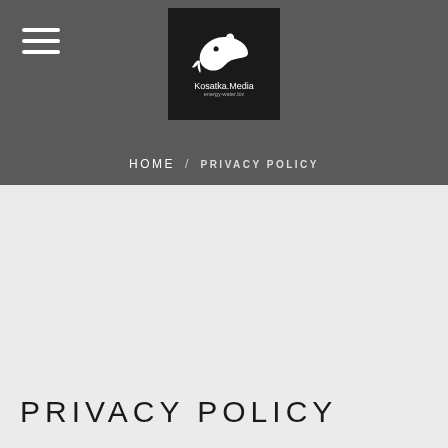[Figure (logo): Kosatka.Media logo — orca/killer whale silhouette above text 'Kosatka.Media' on a black square background]
HOME / PRIVACY POLICY
PRIVACY POLICY
This document describes the privacy policy for https://kosatka.media/ (hereinafter referred to as the Site) of Kosatka.Media LLC. This document explains what types of information